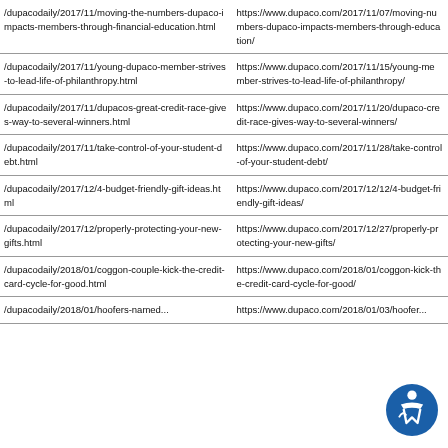| Path | Full URL |
| --- | --- |
| /dupacodaily/2017/11/moving-the-numbers-dupaco-impacts-members-through-financial-education.html | https://www.dupaco.com/2017/11/07/moving-numbers-dupaco-impacts-members-through-education/ |
| /dupacodaily/2017/11/young-dupaco-member-strives-to-lead-life-of-philanthropy.html | https://www.dupaco.com/2017/11/15/young-member-strives-to-lead-life-of-philanthropy/ |
| /dupacodaily/2017/11/dupacos-great-credit-race-gives-way-to-several-winners.html | https://www.dupaco.com/2017/11/20/dupaco-credit-race-gives-way-to-several-winners/ |
| /dupacodaily/2017/11/take-control-of-your-student-debt.html | https://www.dupaco.com/2017/11/28/take-control-of-your-student-debt/ |
| /dupacodaily/2017/12/4-budget-friendly-gift-ideas.html | https://www.dupaco.com/2017/12/12/4-budget-friendly-gift-ideas/ |
| /dupacodaily/2017/12/properly-protecting-your-new-gifts.html | https://www.dupaco.com/2017/12/27/properly-protecting-your-new-gifts/ |
| /dupacodaily/2018/01/coggon-couple-kick-the-credit-card-cycle-for-good.html | https://www.dupaco.com/2018/01/coggon-kick-the-credit-card-cycle-for-good/ |
| /dupacodaily/2018/01/hoofers-named... | https://www.dupaco.com/2018/01/03/hoofers... |